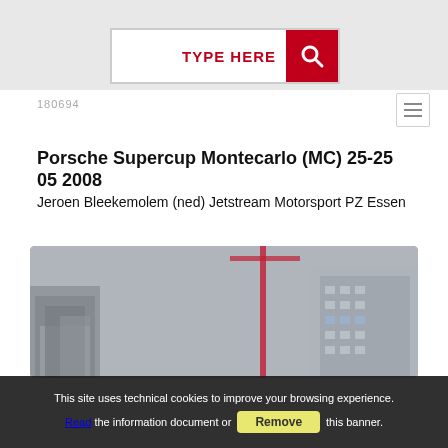[Figure (screenshot): Search bar with 'TYPE HERE' placeholder text and a red search button with magnifying glass icon, on a grey background]
180694
Porsche Supercup Montecarlo (MC) 25-25 05 2008
Jeroen Bleekemolem (ned) Jetstream Motorsport PZ Essen
[Figure (photo): In-car view from a racing car driving through Monte Carlo streets in wet conditions, with city buildings visible and spray on the road]
This site uses technical cookies to improve your browsing experience. Read the information document or Remove this banner.